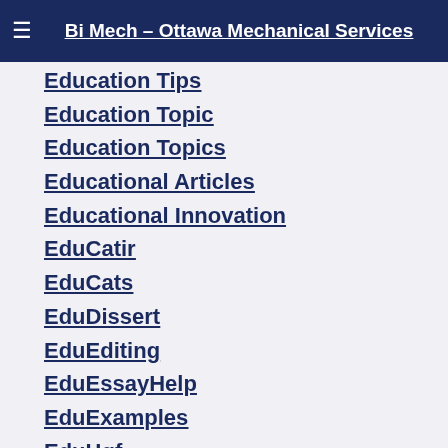Bi Mech - Ottawa Mechanical Services
Education Tips
Education Topic
Education Topics
Educational Articles
Educational Innovation
EduCatir
EduCats
EduDissert
EduEditing
EduEssayHelp
EduExamples
EduHgf
EduNew
EduPaper
EduPapers
EduPosts